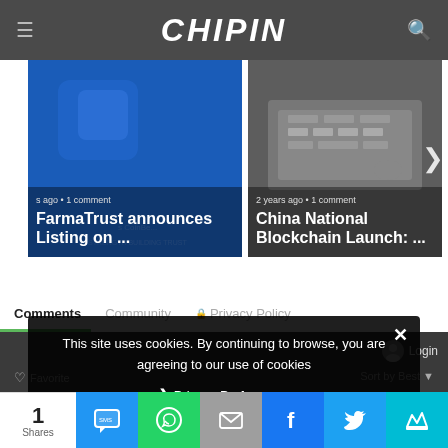CHIPIN
[Figure (screenshot): FarmaTrust announces Listing on ... article card with blue blockchain logo background, meta: 's ago • 1 comment']
[Figure (screenshot): China National Blockchain Launch: ... article card with dark background showing hands on keyboard, meta: '2 years ago • 1 comment']
Comments  Community  🔒 Privacy Policy
This site uses cookies. By continuing to browse, you are agreeing to our use of cookies
❯ Privacy Preferences
1 Shares